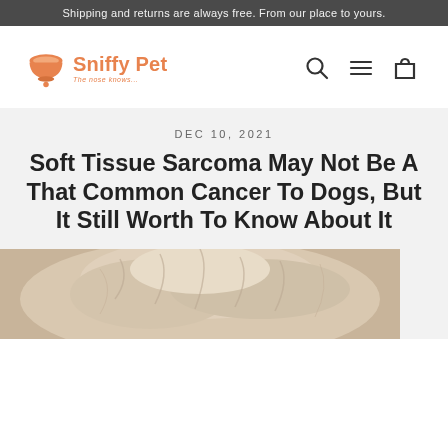Shipping and returns are always free. From our place to yours.
[Figure (logo): Sniffy Pet logo with orange bowl icon and tagline 'The nose knows...']
DEC 10, 2021
Soft Tissue Sarcoma May Not Be A That Common Cancer To Dogs, But It Still Worth To Know About It
[Figure (photo): Close-up photo of a fluffy light-colored dog]